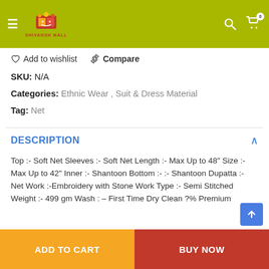Shivansh Mall — navigation header with hamburger menu, logo, search and cart icons
Add to wishlist   Compare
SKU: N/A
Categories: Ethnic Wear , Suit & Dress Material
Tag: Net
DESCRIPTION
Top :- Soft Net Sleeves :- Soft Net Length :- Max Up to 48" Size :- Max Up to 42" Inner :- Shantoon Bottom :- :- Shantoon Dupatta :- Net Work :-Embroidery with Stone Work Type :- Semi Stitched Weight :- 499 gm Wash : – First Time Dry Clean ?% Premium